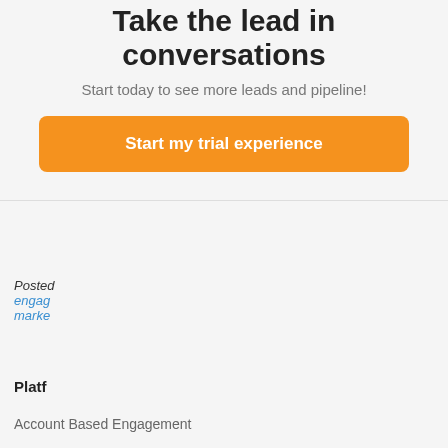Take the lead in conversations
Start today to see more leads and pipeline!
Start my trial experience
Posted
engag
marke
[Figure (screenshot): Chat popup showing Funnel Bot with orange header, avatar, and message: Hey there! Can I help you find something?]
Platf
Account Based Engagement